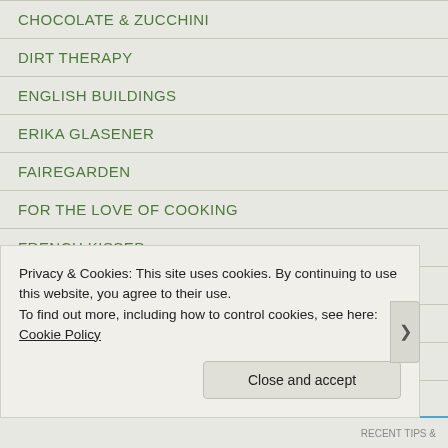CHOCOLATE & ZUCCHINI
DIRT THERAPY
ENGLISH BUILDINGS
ERIKA GLASENER
FAIREGARDEN
FOR THE LOVE OF COOKING
FRENCH KISSED
GARDEN DESIGN GURU
GARDEN HISTORY GIRL
GARDEN WALK GARDEN TALK
Privacy & Cookies: This site uses cookies. By continuing to use this website, you agree to their use.
To find out more, including how to control cookies, see here: Cookie Policy
Close and accept